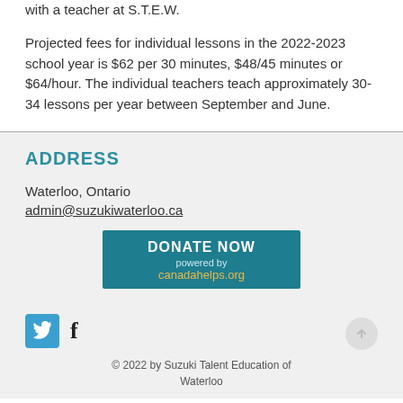with a teacher at S.T.E.W.

Projected fees for individual lessons in the 2022-2023 school year is $62 per 30 minutes, $48/45 minutes or $64/hour. The individual teachers teach approximately 30-34 lessons per year between September and June.
ADDRESS
Waterloo, Ontario
admin@suzukiwaterloo.ca
[Figure (other): DONATE NOW powered by canadahelps.org button]
[Figure (other): Twitter and Facebook social media icons]
© 2022 by Suzuki Talent Education of Waterloo